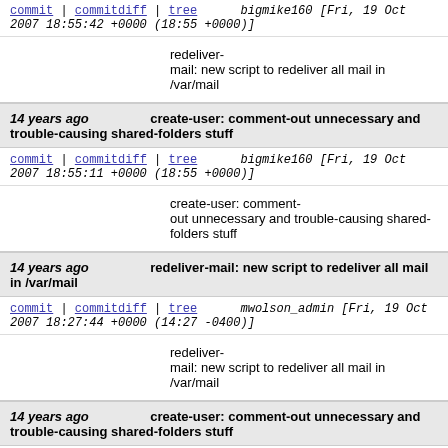commit | commitdiff | tree   bigmike160 [Fri, 19 Oct 2007 18:55:42 +0000 (18:55 +0000)]
redeliver-mail: new script to redeliver all mail in /var/mail
14 years ago   create-user: comment-out unnecessary and trouble-causing shared-folders stuff
commit | commitdiff | tree   bigmike160 [Fri, 19 Oct 2007 18:55:11 +0000 (18:55 +0000)]
create-user: comment-out unnecessary and trouble-causing shared-folders stuff
14 years ago   redeliver-mail: new script to redeliver all mail in /var/mail
commit | commitdiff | tree   mwolson_admin [Fri, 19 Oct 2007 18:27:44 +0000 (14:27 -0400)]
redeliver-mail: new script to redeliver all mail in /var/mail
14 years ago   create-user: comment-out unnecessary and trouble-causing shared-folders stuff